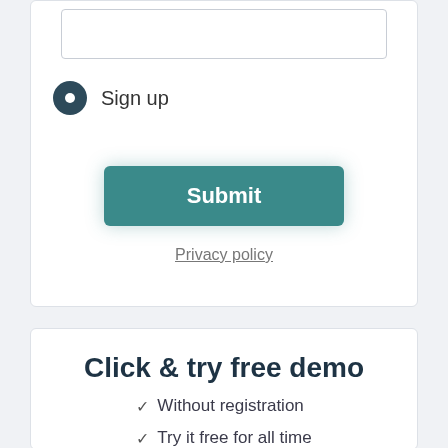[Figure (screenshot): Input text field (partially visible at top of card)]
Sign up
[Figure (screenshot): Submit button — teal colored rectangular button with white bold text 'Submit']
Privacy policy
Click & try free demo
Without registration
Try it free for all time